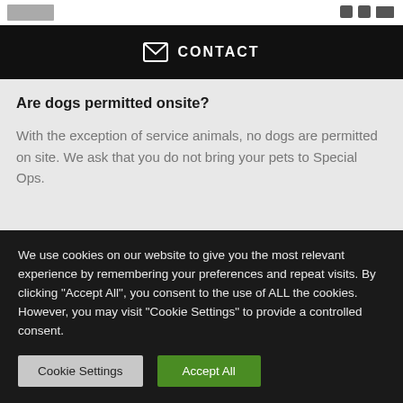CONTACT
Are dogs permitted onsite?
With the exception of service animals, no dogs are permitted on site. We ask that you do not bring your pets to Special Ops.
What food do you offer? Can I bring my own?
We use cookies on our website to give you the most relevant experience by remembering your preferences and repeat visits. By clicking "Accept All", you consent to the use of ALL the cookies. However, you may visit "Cookie Settings" to provide a controlled consent.